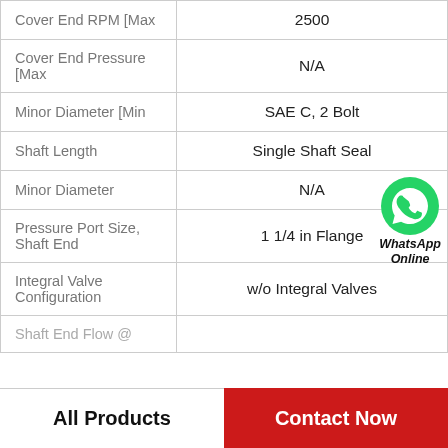| Property | Value |
| --- | --- |
| Cover End RPM [Max | 2500 |
| Cover End Pressure [Max | N/A |
| Minor Diameter [Min | SAE C, 2 Bolt |
| Shaft Length | Single Shaft Seal |
| Minor Diameter | N/A |
| Pressure Port Size, Shaft End | 1 1/4 in Flange |
| Integral Valve Configuration | w/o Integral Valves |
| Shaft End Flow @ |  |
[Figure (logo): WhatsApp Online contact bubble with green phone icon]
All Products   Contact Now